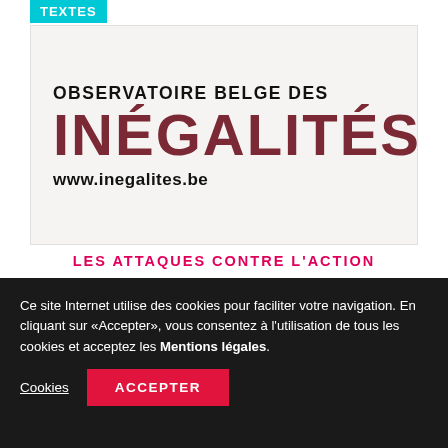TEXTES
[Figure (logo): Logo of Observatoire Belge des Inégalités with website URL www.inegalites.be]
LES ATTAQUES CONTRE L'ACTION
Ce site Internet utilise des cookies pour faciliter votre navigation. En cliquant sur «Accepter», vous consentez à l'utilisation de tous les cookies et acceptez les Mentions légales.
Cookies   ACCEPTER